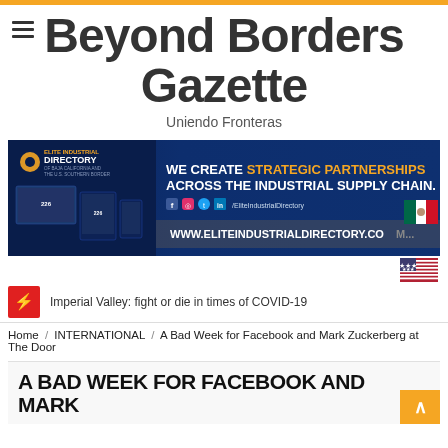Beyond Borders Gazette — Uniendo Fronteras
[Figure (other): Elite Industrial Directory advertisement banner: dark blue background with product mockups on left, text 'We Create Strategic Partnerships Across the Industrial Supply Chain' on right, with social media icons and URL www.eliteindustrialdirectory.com, Mexican and US flags]
Imperial Valley: fight or die in times of COVID-19
Home / INTERNATIONAL / A Bad Week for Facebook and Mark Zuckerberg at The Door
A BAD WEEK FOR FACEBOOK AND MARK